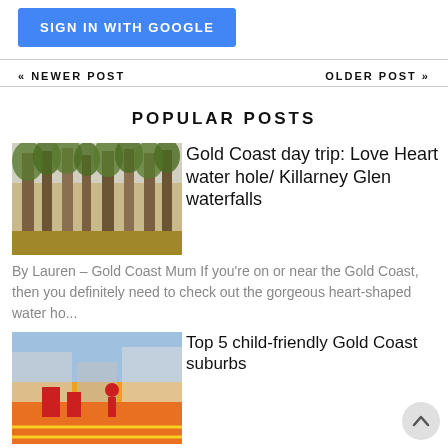[Figure (other): Blue 'Sign in with Google' button]
« NEWER POST
OLDER POST »
POPULAR POSTS
[Figure (photo): Thumbnail photo of forest trees for Gold Coast day trip article]
Gold Coast day trip: Love Heart water hole/ Killarney Glen waterfalls
By Lauren – Gold Coast Mum If you're on or near the Gold Coast, then you definitely need to check out the gorgeous heart-shaped water ho...
[Figure (photo): Thumbnail photo of colourful playground for Top 5 child-friendly Gold Coast suburbs article]
Top 5 child-friendly Gold Coast suburbs
By Gold Coast Mum Gold Coast Mum has written this article in partnership with BOQ Ashmore/Benowa Only minutes from the heart ...